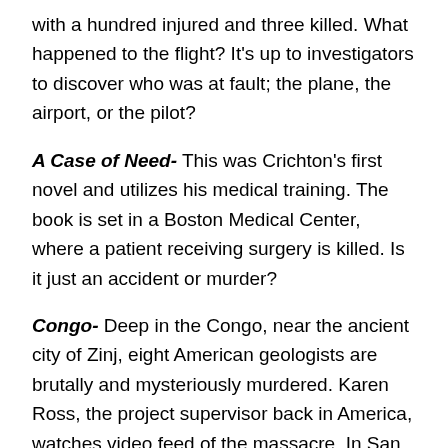with a hundred injured and three killed. What happened to the flight? It's up to investigators to discover who was at fault; the plane, the airport, or the pilot?
A Case of Need- This was Crichton's first novel and utilizes his medical training. The book is set in a Boston Medical Center, where a patient receiving surgery is killed. Is it just an accident or murder?
Congo- Deep in the Congo, near the ancient city of Zinj, eight American geologists are brutally and mysteriously murdered. Karen Ross, the project supervisor back in America, watches video feed of the massacre. In San Francisco, primatologist Peter Elliot has been able to teach a gorilla named Amy over 600 signs, finger painting, etc. Lately, Amy has been acting strangely and painting horrible things, that Peter thinks maybe it is time to take